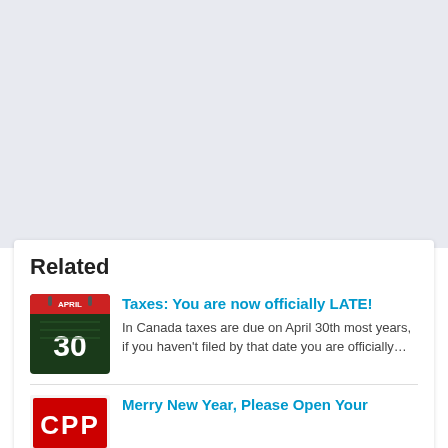Related
[Figure (illustration): Calendar icon showing April 30 with a dark green background]
Taxes: You are now officially LATE!
In Canada taxes are due on April 30th most years, if you haven't filed by that date you are officially…
[Figure (logo): CPP logo in red and white letters]
Merry New Year, Please Open Your